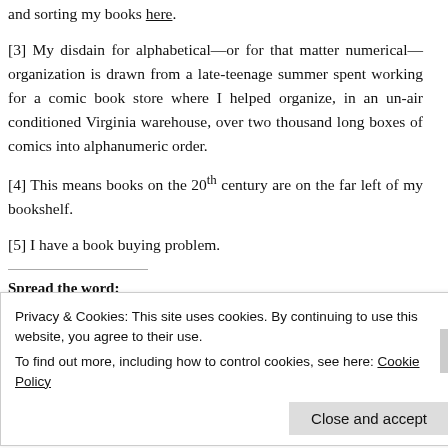and sorting my books here.
[3] My disdain for alphabetical—or for that matter numerical—organization is drawn from a late-teenage summer spent working for a comic book store where I helped organize, in an un-air conditioned Virginia warehouse, over two thousand long boxes of comics into alphanumeric order.
[4] This means books on the 20th century are on the far left of my bookshelf.
[5] I have a book buying problem.
Spread the word:
[Figure (other): Social media sharing icons: dark blue circle (Facebook) and light blue circle (Twitter)]
Privacy & Cookies: This site uses cookies. By continuing to use this website, you agree to their use. To find out more, including how to control cookies, see here: Cookie Policy